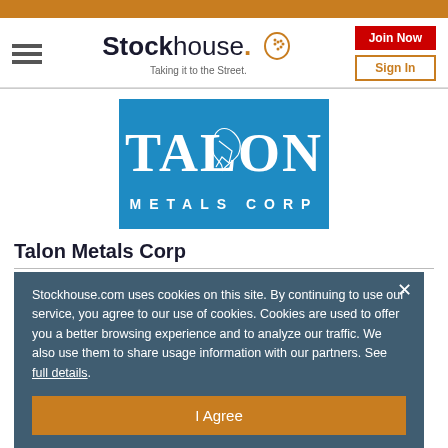Stockhouse - Taking it to the Street.
[Figure (logo): Talon Metals Corp logo - white text on blue background with stylized eagle/talon graphic]
Talon Metals Corp
Stockhouse.com uses cookies on this site. By continuing to use our service, you agree to our use of cookies. Cookies are used to offer you a better browsing experience and to analyze our traffic. We also use them to share usage information with our partners. See full details.
I Agree